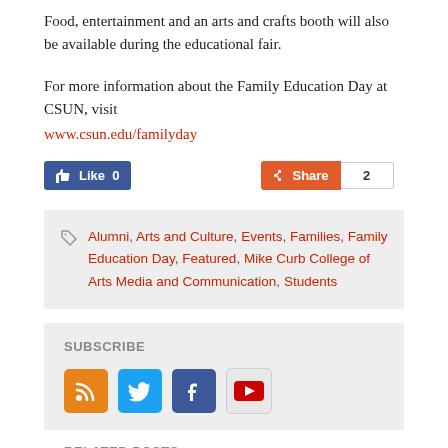Food, entertainment and an arts and crafts booth will also be available during the educational fair.
For more information about the Family Education Day at CSUN, visit www.csun.edu/familyday
[Figure (other): Social sharing buttons: Facebook Like (0) and Share (2)]
Alumni, Arts and Culture, Events, Families, Family Education Day, Featured, Mike Curb College of Arts Media and Communication, Students
SUBSCRIBE
[Figure (other): Subscribe icons: RSS, Twitter, Facebook, YouTube]
RELATED POSTS: